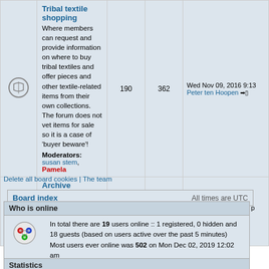|  | Forum | Topics | Posts | Last post |
| --- | --- | --- | --- | --- |
| [icon] | Tribal textile shopping
Where members can request and provide information on where to buy tribal textiles and offer pieces and other textile-related items from their own collections. The forum does not vet items for sale so it is a case of 'buyer beware'!
Moderators: susan stem, Pamela | 190 | 362 | Wed Nov 09, 2016 9:13
Peter ten Hoopen → |
| [icon] | Archive
20 message threads archived from an earlier tribaltextiles.info forum | 1 | 1 | Sat Jul 05, 2003 1:38 p
Pamela → |
Delete all board cookies | The team
Board index    All times are UTC
Who is online
In total there are 19 users online :: 1 registered, 0 hidden and 18 guests (based on users active over the past 5 minutes)
Most users ever online was 502 on Mon Dec 02, 2019 12:02 am

Registered users: Bing [Bot]
Legend :: Administrators, Global moderators
Statistics